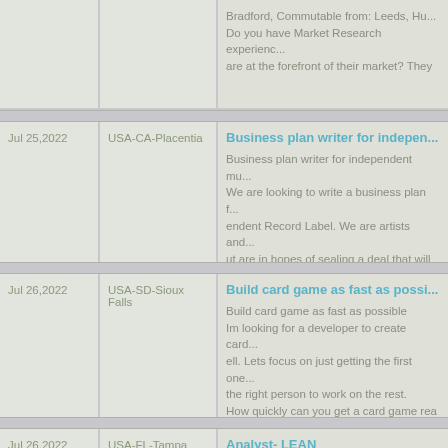| Date | Location | Job Title / Description |
| --- | --- | --- |
|  |  | Bradford, Commutable from: Leeds, Hu... Do you have Market Research experienc... are at the forefront of their market? They |
| Jul 25,2022 | USA-CA-Placentia | Business plan writer for indepen... Business plan writer for independent mu... We are looking to write a business plan f... endent Record Label. We are artists and... ut are in hopes of sealing a deal that will |
| Jul 26,2022 | USA-SD-Sioux Falls | Build card game as fast as possi... Build card game as fast as possible Im looking for a developer to create card... ell. Lets focus on just getting the first one... the right person to work on the rest. How quickly can you get a card game rea |
| Jul 26,2022 | USA-FL-Tampa | Analyst- LEAN Full Time Our client is looking for an Analyst- LEAN |